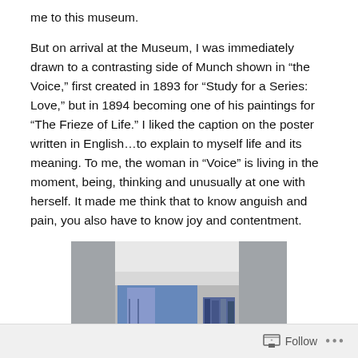me to this museum.
But on arrival at the Museum, I was immediately drawn to a contrasting side of Munch shown in “the Voice,” first created in 1893 for “Study for a Series: Love,” but in 1894 becoming one of his paintings for “The Frieze of Life.” I liked the caption on the poster written in English…to explain to myself life and its meaning. To me, the woman in “Voice” is living in the moment, being, thinking and unusually at one with herself. It made me think that to know anguish and pain, you also have to know joy and contentment.
[Figure (photo): A photograph showing what appears to be museum posters or books with blue coloring displayed on a shelf or surface against a gray/concrete background]
Follow ...